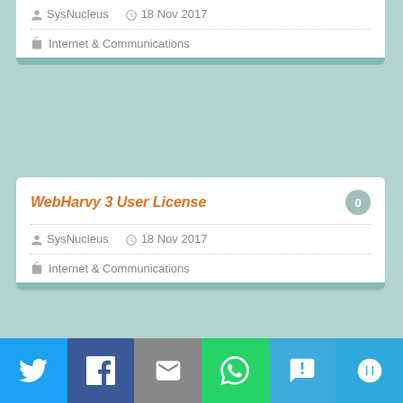SysNucleus   18 Nov 2017
Internet & Communications
WebHarvy 3 User License
SysNucleus   18 Nov 2017
Internet & Communications
WebHarvy 2 User License
SysNucleus   18 Nov 2017
Internet & Communications